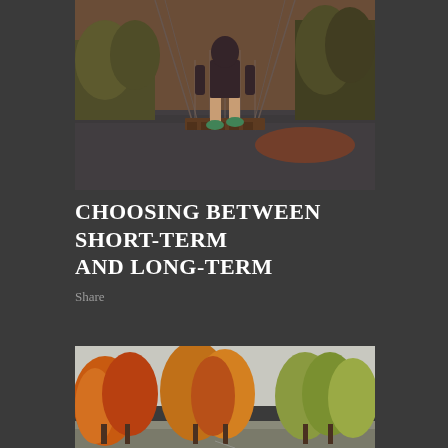[Figure (photo): Person walking on a narrow wooden suspension bridge over a river or lake, wearing dark shorts and colorful sneakers, photographed from below/behind with warm sunset tones and green forest in background]
CHOOSING BETWEEN SHORT-TERM AND LONG-TERM
Share
[Figure (photo): Autumn landscape with orange and yellow deciduous trees under an overcast sky, road or pathway visible at the bottom]